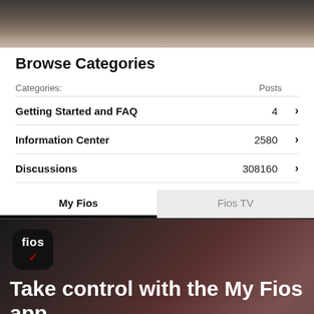[Figure (photo): Partial view of a person's hand/desk scene, cropped at top of page]
Browse Categories
| Categories: | Posts |  |
| --- | --- | --- |
| Getting Started and FAQ | 4 | > |
| Information Center | 2580 | > |
| Discussions | 308160 | > |
[Figure (screenshot): Tab bar with 'My Fios' (active) and 'Fios TV' tabs, followed by a dark banner showing the Fios app icon and text 'Take control with the My Fios app. My Fios is the easiest way for TV, Internet and Home Phone customers to access and control their Fios...']